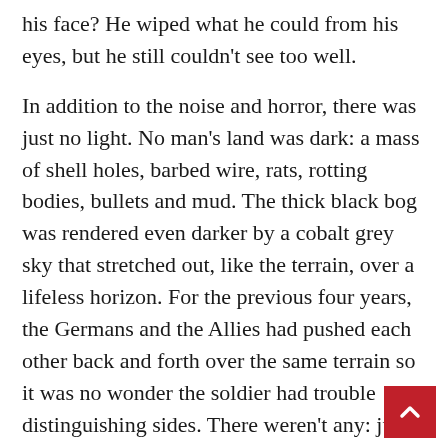his face? He wiped what he could from his eyes, but he still couldn't see too well.
In addition to the noise and horror, there was just no light. No man's land was dark: a mass of shell holes, barbed wire, rats, rotting bodies, bullets and mud. The thick black bog was rendered even darker by a cobalt grey sky that stretched out, like the terrain, over a lifeless horizon. For the previous four years, the Germans and the Allies had pushed each other back and forth over the same terrain so it was no wonder the soldier had trouble distinguishing sides. There weren't any: just soldiers from both sides absurdly butchering each other for no reason.
He tried to move but there was some barbed wire clinging to his right boot. As he stooped to rem it, he realized that it was also attached to a